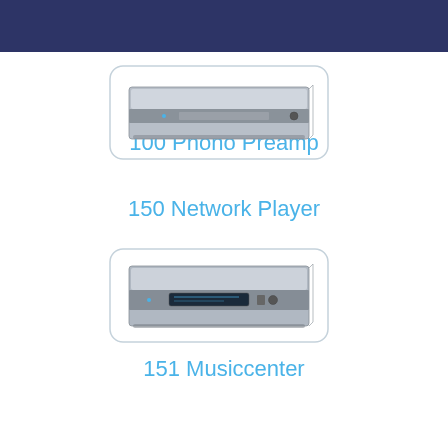100 Phono Preamp
[Figure (photo): Silver rack-mounted audio device - 100 Phono Preamp, flat horizontal unit with front panel controls]
150 Network Player
[Figure (photo): Silver rack-mounted audio device - 150 Network Player, flat horizontal unit with front panel display and controls]
151 Musiccenter